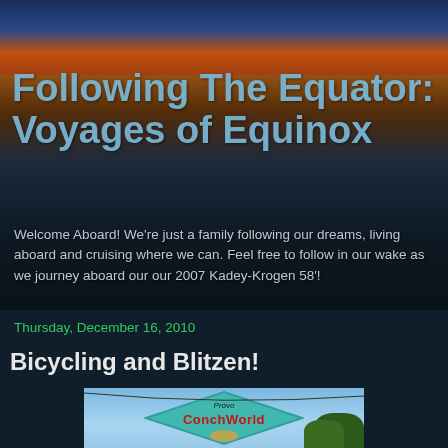Following The Equator: Voyages of Equinox
Welcome Aboard! We're just a family following our dreams, living aboard and cruising where we can. Feel free to follow in our wake as we journey aboard our our 2007 Kadey-Krogen 58'!
Thursday, December 16, 2010
Bicycling and Blitzen!
[Figure (photo): Photo of a Provo ConchWorld sign — a diamond-shaped teal/turquoise sign with 'Provo' at top and 'ConchWorld' in large red letters with a conch shell illustration, against a blue sky with trees in background]